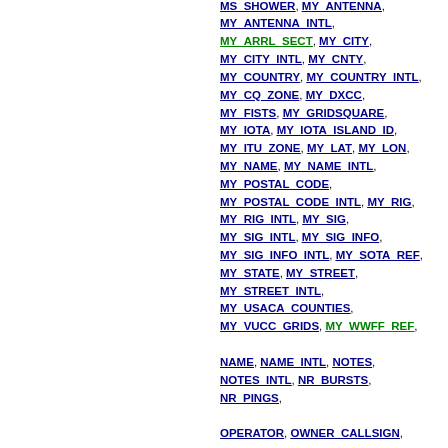EQTH_QSE_SENT, MAX_BURSTS, MODE, MS_SHOWER, MY_ANTENNA, MY_ANTENNA_INTL, MY_ARRL_SECT, MY_CITY, MY_CITY_INTL, MY_CNTY, MY_COUNTRY, MY_COUNTRY_INTL, MY_CQ_ZONE, MY_DXCC, MY_FISTS, MY_GRIDSQUARE, MY_IOTA, MY_IOTA_ISLAND_ID, MY_ITU_ZONE, MY_LAT, MY_LON, MY_NAME, MY_NAME_INTL, MY_POSTAL_CODE, MY_POSTAL_CODE_INTL, MY_RIG, MY_RIG_INTL, MY_SIG, MY_SIG_INTL, MY_SIG_INFO, MY_SIG_INFO_INTL, MY_SOTA_REF, MY_STATE, MY_STREET, MY_STREET_INTL, MY_USACA_COUNTIES, MY_VUCC_GRIDS, MY_WWFF_REF, NAME, NAME_INTL, NOTES, NOTES_INTL, NR_BURSTS, NR_PINGS, OPERATOR, OWNER_CALLSIGN, PFX, PRECEDENCE, PROP_MODE, PUBLIC_KEY, QRZCOM_QSO_UPLOAD_DATE, QRZCOM_QSO_UPLOAD_STATUS